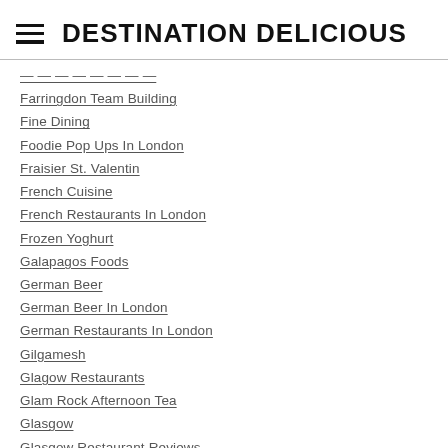DESTINATION DELICIOUS
Farringdon Team Building
Fine Dining
Foodie Pop Ups In London
Fraisier St. Valentin
French Cuisine
French Restaurants In London
Frozen Yoghurt
Galapagos Foods
German Beer
German Beer In London
German Restaurants In London
Gilgamesh
Glagow Restaurants
Glam Rock Afternoon Tea
Glasgow
Glasgow Restaurant Reviews
Glasgow Restaurants
Goan Portugese Fusion Restaurant In London